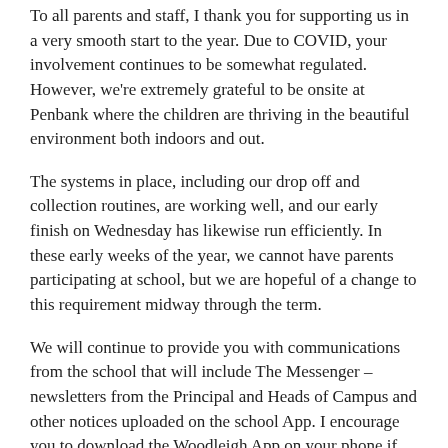To all parents and staff, I thank you for supporting us in a very smooth start to the year. Due to COVID, your involvement continues to be somewhat regulated. However, we're extremely grateful to be onsite at Penbank where the children are thriving in the beautiful environment both indoors and out.
The systems in place, including our drop off and collection routines, are working well, and our early finish on Wednesday has likewise run efficiently. In these early weeks of the year, we cannot have parents participating at school, but we are hopeful of a change to this requirement midway through the term.
We will continue to provide you with communications from the school that will include The Messenger – newsletters from the Principal and Heads of Campus and other notices uploaded on the school App. I encourage you to download the Woodleigh App on your phone if you haven't done so already.
Looking forward to continuing exciting times at Penbank.